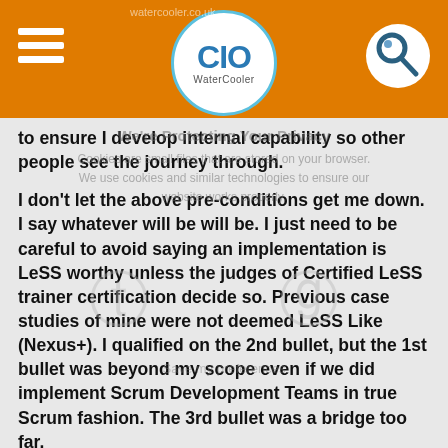CIO WaterCooler
to ensure I develop internal capability so other people see the journey through.
I don't let the above pre-conditions get me down. I say whatever will be will be. I just need to be careful to avoid saying an implementation is LeSS worthy unless the judges of Certified LeSS trainer certification decide so. Previous case studies of mine were not deemed LeSS Like (Nexus+). I qualified on the 2nd bullet, but the 1st bullet was beyond my scope even if we did implement Scrum Development Teams in true Scrum fashion. The 3rd bullet was a bridge too far.
Indeed, at my latest client, where there is strong thinking...